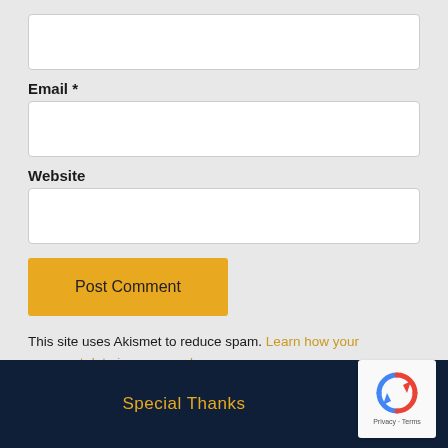[Figure (screenshot): Empty text input field at the top of the form]
Email *
[Figure (screenshot): Empty email input field]
Website
[Figure (screenshot): Empty website input field]
[Figure (screenshot): Post Comment button (yellow/gold background)]
This site uses Akismet to reduce spam. Learn how your comment data is processed.
Special Thanks
[Figure (logo): reCAPTCHA logo with Privacy and Terms links]